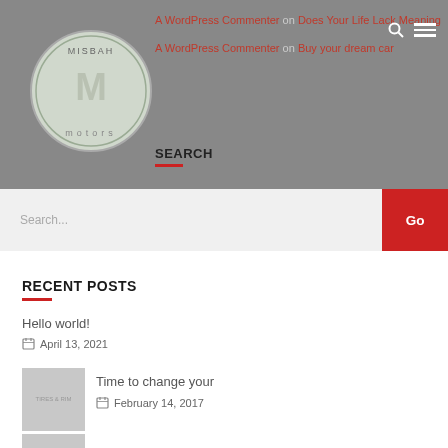A WordPress Commenter on Does Your Life Lack Meaning
A WordPress Commenter on Buy your dream car
[Figure (logo): Misbah Motors circular logo with M initial]
SEARCH
Search...
RECENT POSTS
Hello world!
April 13, 2021
[Figure (photo): Thumbnail image placeholder]
Time to change your
February 14, 2017